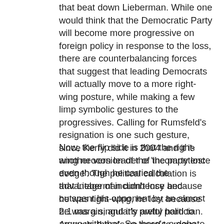that beat down Lieberman. While one would think that the Democratic Party will become more progressive on foreign policy in response to the loss, there are counterbalancing forces that suggest that leading Democrats will actually move to a more right-wing posture, while making a few limp symbolic gestures to the progressives. Calling for Rumsfeld's resignation is one such gesture, since Kerry did it in 2004 and it is another version of the 'incompetence dodge'. The political calculation is that Lieberman didn't lose because he was right-wing, he lost because he was a singularly awful politician. As such, there's no need to move leftward since it's fairly easy to avoid a Lieberman-esque political backlash.
Now, the flip side is that the right-wing neocon leader of the party lost even though he carried the advantage of incumbency and outspent his opponent by an almost 2:1 margin, and it's pretty hard to argue with that. So there's a debate over the meaning of Lamont victory, and nothing